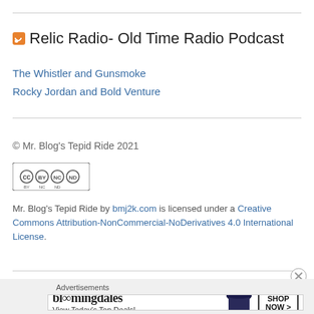Relic Radio- Old Time Radio Podcast
The Whistler and Gunsmoke
Rocky Jordan and Bold Venture
© Mr. Blog's Tepid Ride 2021
[Figure (logo): Creative Commons BY NC ND license badge]
Mr. Blog's Tepid Ride by bmj2k.com is licensed under a Creative Commons Attribution-NonCommercial-NoDerivatives 4.0 International License.
[Figure (infographic): Bloomingdale's advertisement: View Today's Top Deals! SHOP NOW >]
Advertisements